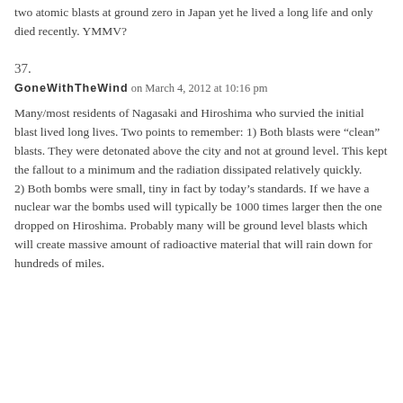two atomic blasts at ground zero in Japan yet he lived a long life and only died recently. YMMV?
37.
GoneWithTheWind on March 4, 2012 at 10:16 pm
Many/most residents of Nagasaki and Hiroshima who survied the initial blast lived long lives. Two points to remember: 1) Both blasts were “clean” blasts. They were detonated above the city and not at ground level. This kept the fallout to a minimum and the radiation dissipated relatively quickly. 2) Both bombs were small, tiny in fact by today’s standards. If we have a nuclear war the bombs used will typically be 1000 times larger then the one dropped on Hiroshima. Probably many will be ground level blasts which will create massive amount of radioactive material that will rain down for hundreds of miles.